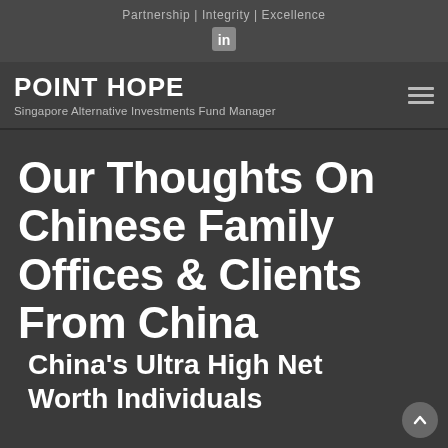Partnership | Integrity | Excellence
POINT HOPE
Singapore Alternative Investments Fund Manager
Our Thoughts On Chinese Family Offices & Clients From China
China's Ultra High Net Worth Individuals